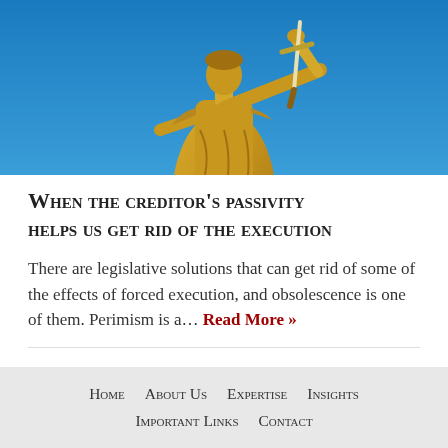[Figure (photo): Golden statue of Lady Justice holding a sword aloft against a blue sky background]
When the creditor's passivity helps us get rid of the execution
There are legislative solutions that can get rid of some of the effects of forced execution, and obsolescence is one of them. Perimism is a… Read More »
Home   About Us   Expertise   Insights   Important Links   Contact